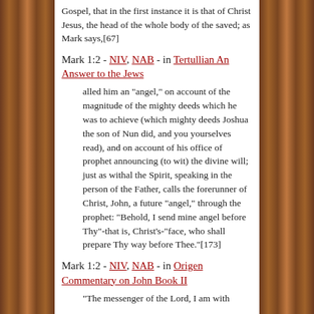Gospel, that in the first instance it is that of Christ Jesus, the head of the whole body of the saved; as Mark says,[67]
Mark 1:2 - NIV, NAB - in Tertullian An Answer to the Jews
alled him an "angel," on account of the magnitude of the mighty deeds which he was to achieve (which mighty deeds Joshua the son of Nun did, and you yourselves read), and on account of his office of prophet announcing (to wit) the divine will; just as withal the Spirit, speaking in the person of the Father, calls the forerunner of Christ, John, a future "angel," through the prophet: "Behold, I send mine angel before Thy"-that is, Christ's-"face, who shall prepare Thy way before Thee."[173]
Mark 1:2 - NIV, NAB - in Origen Commentary on John Book II
"The messenger of the Lord, I am with